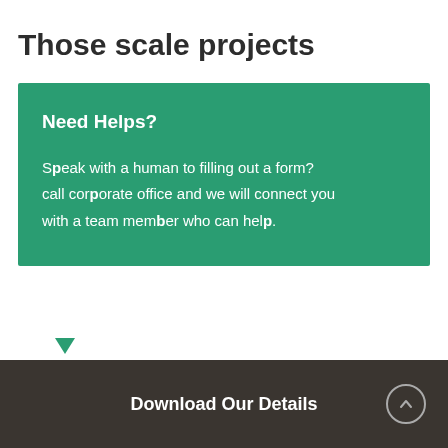Those scale projects
Need Helps?
Speak with a human to filling out a form? call corporate office and we will connect you with a team member who can help.
Download Our Details